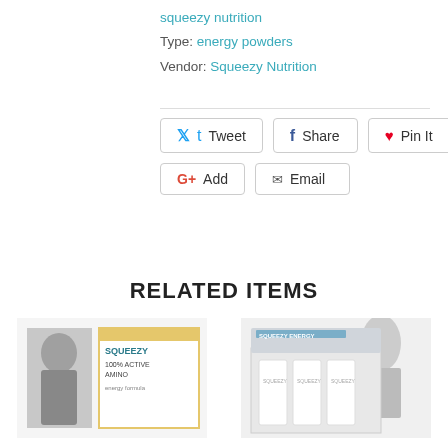squeezy nutrition
Type: energy powders
Vendor: Squeezy Nutrition
Tweet
Share
Pin It
Add
Email
RELATED ITEMS
[Figure (photo): Squeezy nutrition product box - amino supplement, featuring athlete portrait]
[Figure (photo): Squeezy nutrition product box set - energy bars/gels, white packaging displayed in a display box]